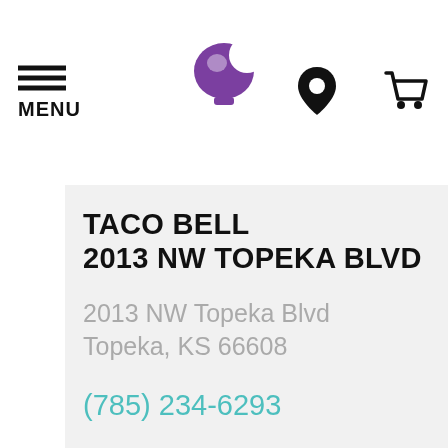MENU
[Figure (logo): Taco Bell logo - purple bell shape]
[Figure (illustration): Location pin icon]
[Figure (illustration): Shopping cart icon]
TACO BELL
2013 NW TOPEKA BLVD
2013 NW Topeka Blvd
Topeka, KS 66608
(785) 234-6293
OPEN TODAY UNTIL 1:0